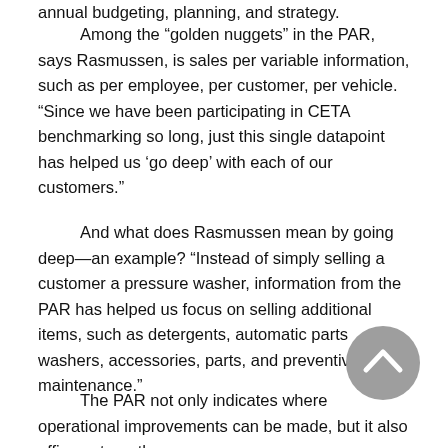annual budgeting, planning, and strategy.
Among the “golden nuggets” in the PAR, says Rasmussen, is sales per variable information, such as per employee, per customer, per vehicle. “Since we have been participating in CETA benchmarking so long, just this single datapoint has helped us ‘go deep’ with each of our customers.”
And what does Rasmussen mean by going deep—an example? “Instead of simply selling a customer a pressure washer, information from the PAR has helped us focus on selling additional items, such as detergents, automatic parts washers, accessories, parts, and preventive maintenance.”
The PAR not only indicates where operational improvements can be made, but it also affirms strength.
[Figure (other): Gray circular back-to-top button with upward-pointing chevron arrow]